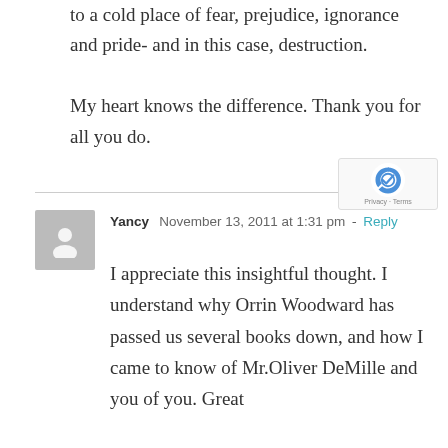to a cold place of fear, prejudice, ignorance and pride- and in this case, destruction.

My heart knows the difference. Thank you for all you do.
Yancy  November 13, 2011 at 1:31 pm  -  Reply
I appreciate this insightful thought. I understand why Orrin Woodward has passed us several books down, and how I came to know of Mr.Oliver DeMille and you of you. Great